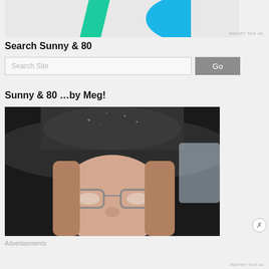[Figure (illustration): Partial advertisement banner at top with green and blue abstract shapes on light grey background]
REPORT THIS AD
Search Sunny & 80
Search Site
Sunny & 80 …by Meg!
[Figure (photo): Close-up selfie photo of a woman wearing a dark wide-brim hat and clear-frame glasses, with shoulder-length brown hair, taken inside a car]
Advertisements
REPORT THIS AD